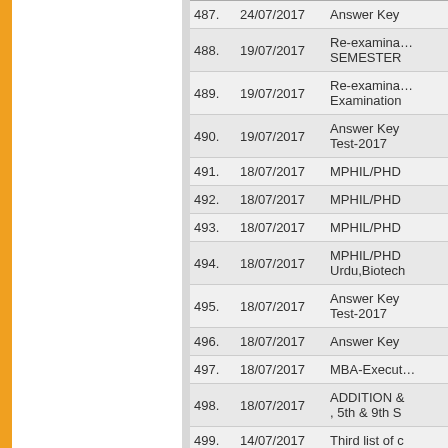| # | Date | Title |
| --- | --- | --- |
| 487. | 24/07/2017 | Answer Key |
| 488. | 19/07/2017 | Re-examination SEMESTER |
| 489. | 19/07/2017 | Re-examination Examination |
| 490. | 19/07/2017 | Answer Key Test-2017 |
| 491. | 18/07/2017 | MPHIL/PHD |
| 492. | 18/07/2017 | MPHIL/PHD |
| 493. | 18/07/2017 | MPHIL/PHD |
| 494. | 18/07/2017 | MPHIL/PHD Urdu,Biotech |
| 495. | 18/07/2017 | Answer Key Test-2017 |
| 496. | 18/07/2017 | Answer Key |
| 497. | 18/07/2017 | MBA-Executive |
| 498. | 18/07/2017 | ADDITION & , 5th & 9th S |
| 499. | 14/07/2017 | Third list of c |